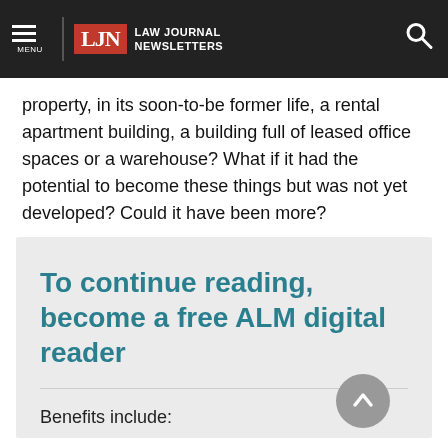LJN Law Journal Newsletters
property, in its soon-to-be former life, a rental apartment building, a building full of leased office spaces or a warehouse? What if it had the potential to become these things but was not yet developed? Could it have been more?
To continue reading, become a free ALM digital reader
Benefits include: